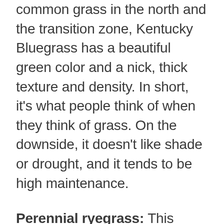common grass in the north and the transition zone, Kentucky Bluegrass has a beautiful green color and a nick, thick texture and density. In short, it's what people think of when they think of grass. On the downside, it doesn't like shade or drought, and it tends to be high maintenance.
Perennial ryegrass: This grass is favored for its rapid germination rate (meaning a high percentage of its seeds will begin to actually grow) and its high wear tolerance in high traffic lawns, making it a great choice for backyards that see lots of